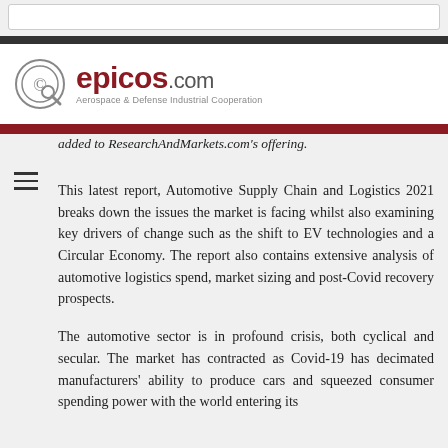epicos.com — Aerospace & Defense Industrial Cooperation
added to ResearchAndMarkets.com's offering.
This latest report, Automotive Supply Chain and Logistics 2021 breaks down the issues the market is facing whilst also examining key drivers of change such as the shift to EV technologies and a Circular Economy. The report also contains extensive analysis of automotive logistics spend, market sizing and post-Covid recovery prospects.
The automotive sector is in profound crisis, both cyclical and secular. The market has contracted as Covid-19 has decimated manufacturers' ability to produce cars and squeezed consumer spending power with the world entering its